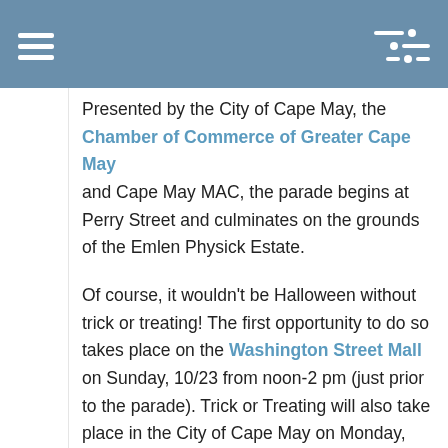Presented by the City of Cape May, the Chamber of Commerce of Greater Cape May and Cape May MAC, the parade begins at Perry Street and culminates on the grounds of the Emlen Physick Estate.
Of course, it wouldn't be Halloween without trick or treating! The first opportunity to do so takes place on the Washington Street Mall on Sunday, 10/23 from noon-2 pm (just prior to the parade). Trick or Treating will also take place in the City of Cape May on Monday, October 31st